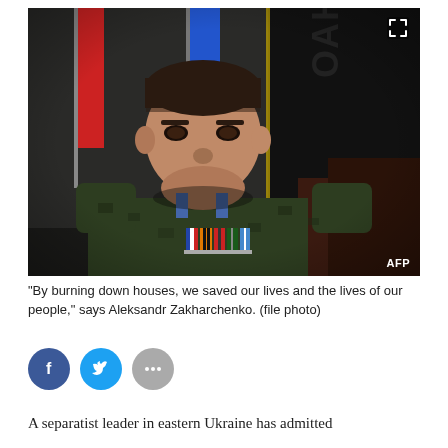[Figure (photo): A man in military camouflage uniform with medals/ribbons on his chest sits in front of flags including a red flag and a blue flag. A black banner with Cyrillic text is visible on the right. The image is credited to AFP.]
"By burning down houses, we saved our lives and the lives of our people," says Aleksandr Zakharchenko. (file photo)
[Figure (other): Social media sharing buttons: Facebook (blue circle with f icon), Twitter (blue circle with bird icon), More options (gray circle with three dots)]
A separatist leader in eastern Ukraine has admitted